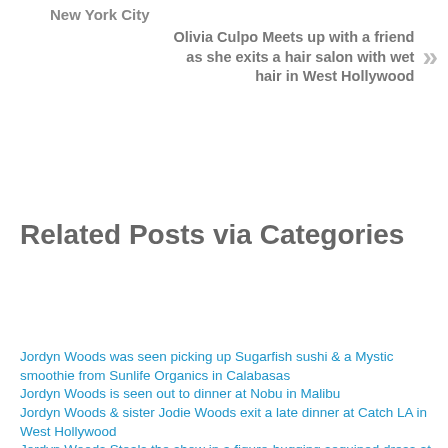New York City
Olivia Culpo Meets up with a friend as she exits a hair salon with wet hair in West Hollywood
Related Posts via Categories
Jordyn Woods was seen picking up Sugarfish sushi & a Mystic smoothie from Sunlife Organics in Calabasas
Jordyn Woods is seen out to dinner at Nobu in Malibu
Jordyn Woods & sister Jodie Woods exit a late dinner at Catch LA in West Hollywood
Jordyn Woods Steals the show in a figure-hugging sequined dress at the Energy Independence pre-Oscar party in Los Angeles
Jordyn Woods Puts on a sexy display of her curvy figure as she arrives for a late night dinner at Craig's restaurant in West Hollywood
Jordyn Woods Shows off her curvy figure as she arrives to her birthday dinner at Nobu in Malibu
Jordyn Woods Arrives to watch her boyfriend Karl-Anthony